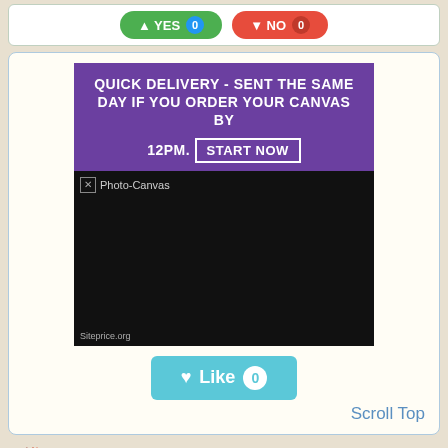[Figure (screenshot): Top bar with green YES button (badge 0) and red NO button (badge 0)]
[Figure (screenshot): Advertisement image: purple banner reading QUICK DELIVERY - SENT THE SAME DAY IF YOU ORDER YOUR CANVAS BY 12PM. START NOW, with black section showing Photo-Canvas label and Siteprice.org watermark]
[Figure (screenshot): Light blue Like button with heart icon and badge showing 0]
Scroll Top
[Figure (logo): Red/dark diamond double-arrow logo for siteprice.org]
photo-canvas.com
photo canvas prints. 41% off your photo on canvas. ready same day
photo canvas printing. wide range of different canvases, ready same day, any size, hand stretched &